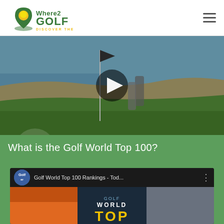[Figure (logo): Where2Golf logo — green location pin with yellow golf ball, text 'Where2 GOLF DISCOVER THE BEST']
[Figure (screenshot): Video thumbnail showing two people standing on a golf course near the ocean holding a flag, with a YouTube play button overlay]
What is the Golf World Top 100?
[Figure (screenshot): YouTube video embed preview for 'Golf World Top 100 Rankings - Tod...' by Today's Golfer, showing Golf World TOP branding]